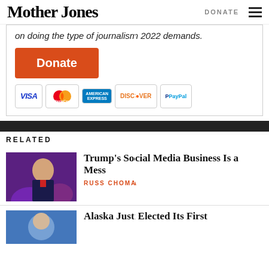Mother Jones | DONATE
on doing the type of journalism 2022 demands.
[Figure (other): Orange Donate button]
[Figure (other): Payment icons: VISA, MasterCard, American Express, Discover, PayPal]
RELATED
[Figure (photo): Photo of Trump at podium with purple star background]
Trump’s Social Media Business Is a Mess
RUSS CHOMA
[Figure (photo): Photo of woman, Alaska article thumbnail]
Alaska Just Elected Its First